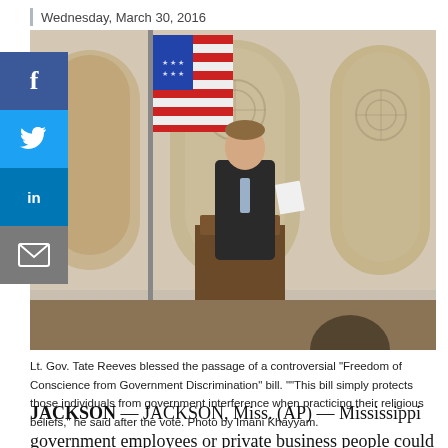Wednesday, March 30, 2016
[Figure (photo): Lt. Gov. Tate Reeves standing at a podium with papers, in front of an American flag and ornate architectural arches]
Lt. Gov. Tate Reeves blessed the passage of a controversial "Freedom of Conscience from Government Discrimination" bill. ""This bill simply protects those individuals from government interference when practicing their religious beliefs," he said after the vote. Photo by Imani Khayyam.
JACKSON — JACKSON, Miss. (AP) — Mississippi government employees or private business people could cite their own religious objections to same-sex marriage to deny services to gay or lesbian couples under a bill that